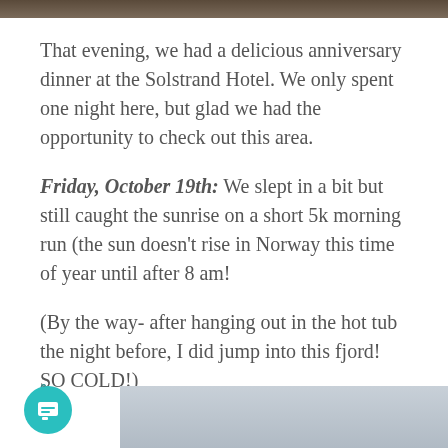[Figure (photo): Top edge of a photo, dark brownish color strip at top of page]
That evening, we had a delicious anniversary dinner at the Solstrand Hotel. We only spent one night here, but glad we had the opportunity to check out this area.
Friday, October 19th: We slept in a bit but still caught the sunrise on a short 5k morning run (the sun doesn't rise in Norway this time of year until after 8 am!
(By the way- after hanging out in the hot tub the night before, I did jump into this fjord! SO COLD!)
6
[Figure (photo): Bottom portion of a cloudy grey sky photo]